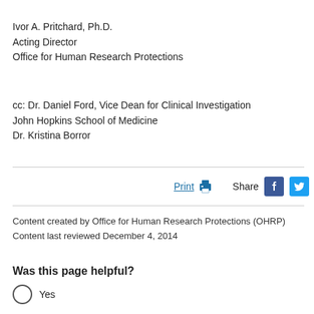Ivor A. Pritchard, Ph.D.
Acting Director
Office for Human Research Protections
cc: Dr. Daniel Ford, Vice Dean for Clinical Investigation
John Hopkins School of Medicine
Dr. Kristina Borror
Print  Share
Content created by Office for Human Research Protections (OHRP)
Content last reviewed December 4, 2014
Was this page helpful?
Yes